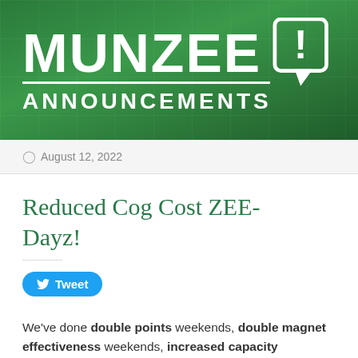[Figure (illustration): Munzee Announcements banner with dark green background, grid pattern, large white bold 'MUNZEE' text, horizontal divider, 'ANNOUNCEMENTS' subtitle, and an exclamation mark in a square speech-bubble icon on the right.]
August 12, 2022
Reduced Cog Cost ZEE-Dayz!
[Figure (other): Twitter Tweet button in blue pill shape with bird icon and 'Tweet' text]
We've done double points weekends, double magnet effectiveness weekends, increased capacity weekends, and double radius weekends, so this time we wanted to test out a NEW special bonus!